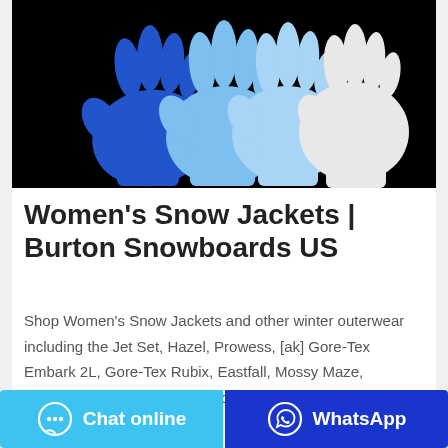[Figure (photo): Three pairs of disposable gloves on a black background: dark blue on the left, light blue in the middle, white on the right.]
Women's Snow Jackets | Burton Snowboards US
Shop Women's Snow Jackets and other winter outerwear including the Jet Set, Hazel, Prowess, [ak] Gore-Tex Embark 2L, Gore-Tex Rubix, Eastfall, Mossy Maze, Chuteout Anorak, and Runestone Jackets …
Chat online
WhatsApp